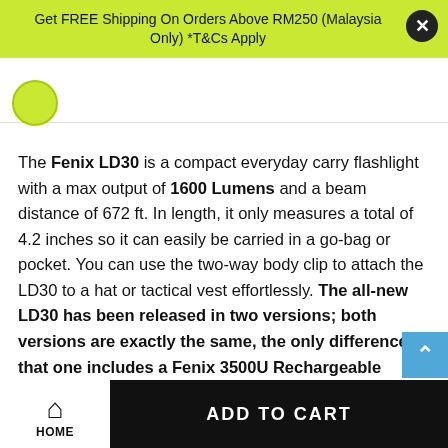Get FREE Shipping On Orders Above RM250 (Malaysia Only) *T&Cs Apply
The Fenix LD30 is a compact everyday carry flashlight with a max output of 1600 Lumens and a beam distance of 672 ft. In length, it only measures a total of 4.2 inches so it can easily be carried in a go-bag or pocket. You can use the two-way body clip to attach the LD30 to a hat or tactical vest effortlessly. The all-new LD30 has been released in two versions; both versions are exactly the same, the only difference is that one includes a Fenix 3500U Rechargeable 18650 battery. This new EDC flashlight features a battery level indicator on the side switch and is IP68 rated. The Fenix LD30 can be powered by a single 18650 battery or two CR123 batteries. Included with your purchase is the durable holster and
HOME   ADD TO CART